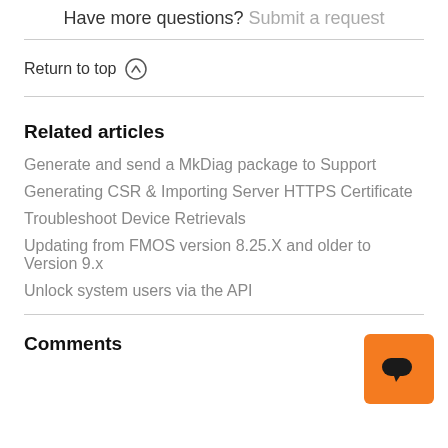Have more questions? Submit a request
Return to top ↑
Related articles
Generate and send a MkDiag package to Support
Generating CSR & Importing Server HTTPS Certificate
Troubleshoot Device Retrievals
Updating from FMOS version 8.25.X and older to Version 9.x
Unlock system users via the API
[Figure (illustration): Orange chat button with speech bubble icon]
Comments